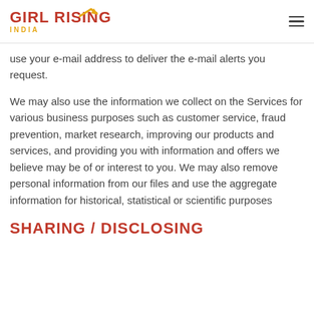GIRL RISING INDIA
use your e-mail address to deliver the e-mail alerts you request.
We may also use the information we collect on the Services for various business purposes such as customer service, fraud prevention, market research, improving our products and services, and providing you with information and offers we believe may be of or interest to you. We may also remove personal information from our files and use the aggregate information for historical, statistical or scientific purposes
SHARING / DISCLOSING